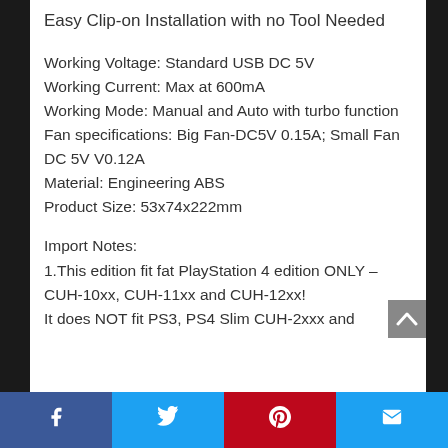Easy Clip-on Installation with no Tool Needed
Working Voltage: Standard USB DC 5V
Working Current: Max at 600mA
Working Mode: Manual and Auto with turbo function
Fan specifications: Big Fan-DC5V 0.15A; Small Fan DC 5V V0.12A
Material: Engineering ABS
Product Size: 53x74x222mm
Import Notes:
1.This edition fit fat PlayStation 4 edition ONLY – CUH-10xx, CUH-11xx and CUH-12xx!
It does NOT fit PS3, PS4 Slim CUH-2xxx and
Facebook | Twitter | Pinterest | Email